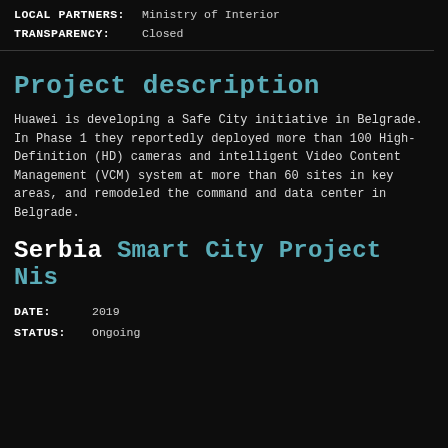LOCAL PARTNERS: Ministry of Interior
TRANSPARENCY: Closed
Project description
Huawei is developing a Safe City initiative in Belgrade. In Phase 1 they reportedly deployed more than 100 High-Definition (HD) cameras and intelligent Video Content Management (VCM) system at more than 60 sites in key areas, and remodeled the command and data center in Belgrade.
Serbia Smart City Project Nis
DATE: 2019
STATUS: Ongoing